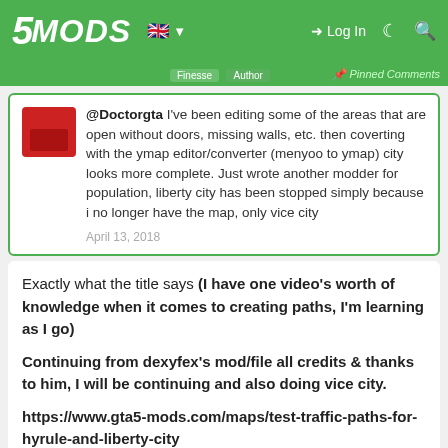5MODS | Log In | Pinned Comments
@Doctorgta I've been editing some of the areas that are open without doors, missing walls, etc. then coverting with the ymap editor/converter (menyoo to ymap) city looks more complete. Just wrote another modder for population, liberty city has been stopped simply because i no longer have the map, only vice city
April 13, 2018
Exactly what the title says (I have one video's worth of knowledge when it comes to creating paths, I'm learning as I go)

Continuing from dexyfex's mod/file all credits & thanks to him, I will be continuing and also doing vice city.

https://www.gta5-mods.com/maps/test-traffic-paths-for-hyrule-and-liberty-city
and it is for: